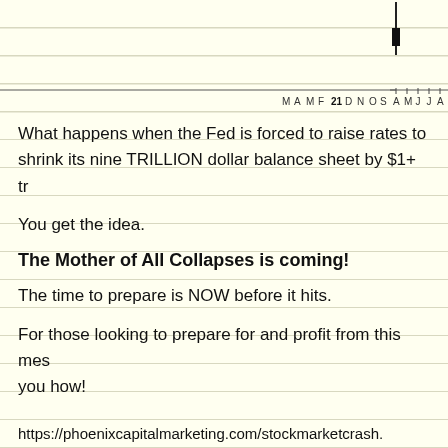[Figure (continuous-plot): Bottom portion of a financial chart showing time axis with month labels: A M J J A S O N D 21 F M A M, with a candlestick or price bar near the top. Background is light yellow with horizontal ruled lines.]
What happens when the Fed is forced to raise rates to shrink its nine TRILLION dollar balance sheet by $1+ tr
You get the idea.
The Mother of All Collapses is coming!
The time to prepare is NOW before it hits.
For those looking to prepare for and profit from this mes you how!
https://phoenixcapitalmarketing.com/stockmarketcrash.
Best Regards,
[Figure (illustration): Handwritten signature, cursive initials resembling 'G.B' or similar.]